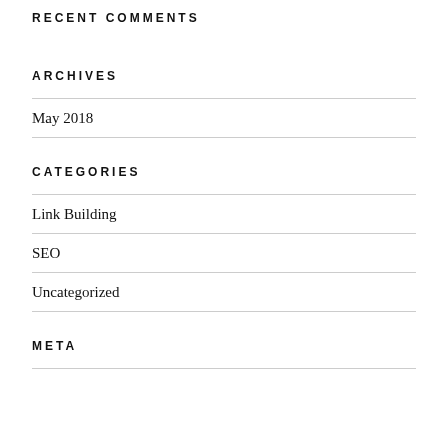RECENT COMMENTS
ARCHIVES
May 2018
CATEGORIES
Link Building
SEO
Uncategorized
META